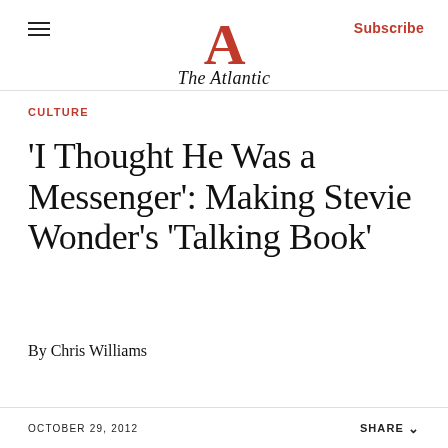The Atlantic
CULTURE
'I Thought He Was a Messenger': Making Stevie Wonder's 'Talking Book'
By Chris Williams
OCTOBER 29, 2012   SHARE